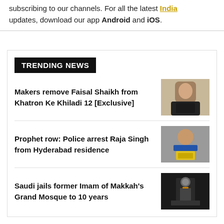subscribing to our channels. For all the latest India updates, download our app Android and iOS.
TRENDING NEWS
Makers remove Faisal Shaikh from Khatron Ke Khiladi 12 [Exclusive]
[Figure (photo): Photo of a young man in a black t-shirt]
Prophet row: Police arrest Raja Singh from Hyderabad residence
[Figure (photo): Photo of a man holding a yellow book/folder]
Saudi jails former Imam of Makkah's Grand Mosque to 10 years
[Figure (photo): Dark photo showing a figure at a podium]